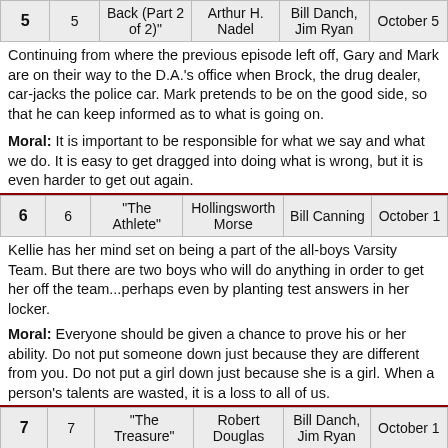| # | # | Title | Writer | Director | Airdate |
| --- | --- | --- | --- | --- | --- |
| 5 | 5 | Back (Part 2 of 2)" | Arthur H. Nadel | Bill Danch, Jim Ryan | October 5 |
Continuing from where the previous episode left off, Gary and Mark are on their way to the D.A.'s office when Brock, the drug dealer, car-jacks the police car. Mark pretends to be on the good side, so that he can keep informed as to what is going on.
Moral: It is important to be responsible for what we say and what we do. It is easy to get dragged into doing what is wrong, but it is even harder to get out again.
| # | # | Title | Writer | Director | Airdate |
| --- | --- | --- | --- | --- | --- |
| 6 | 6 | "The Athlete" | Hollingsworth Morse | Bill Canning | October 1 |
Kellie has her mind set on being a part of the all-boys Varsity Team. But there are two boys who will do anything in order to get her off the team...perhaps even by planting test answers in her locker.
Moral: Everyone should be given a chance to prove his or her ability. Do not put someone down just because they are different from you. Do not put a girl down just because she is a girl. When a person's talents are wasted, it is a loss to all of us.
| # | # | Title | Writer | Director | Airdate |
| --- | --- | --- | --- | --- | --- |
| 7 | 7 | "The Treasure" | Robert Douglas | Bill Danch, Jim Ryan | October 1 |
Two men have been digging up Indian artifacts in the desert and selling them. An Indian chief and his grandson, Johnny, try to get them to...